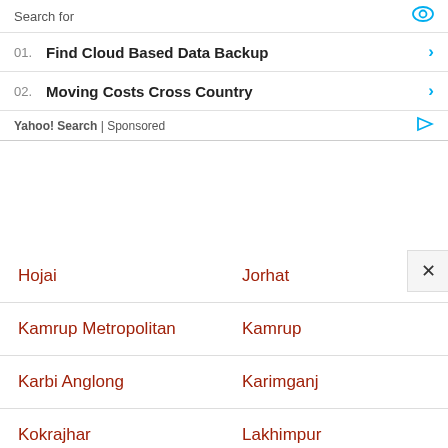Search for
01. Find Cloud Based Data Backup
02. Moving Costs Cross Country
Yahoo! Search | Sponsored
| Hojai | Jorhat |
| Kamrup Metropolitan | Kamrup |
| Karbi Anglong | Karimganj |
| Kokrajhar | Lakhimpur |
| Majuli | Morigaon |
| Nagaon | Nalbari |
| Sivasagar | Sonitpur |
| South Salmara-Mankachar | Tinsukia |
| Udalguri | West Karbi Anglong |